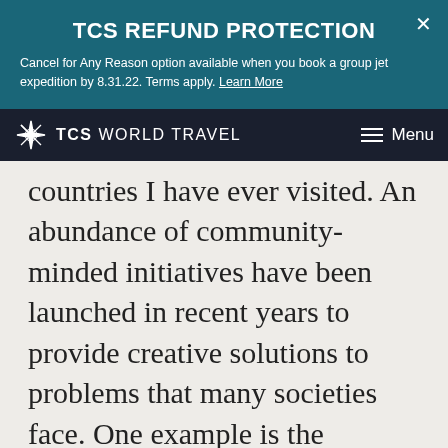TCS REFUND PROTECTION
Cancel for Any Reason option available when you book a group jet expedition by 8.31.22. Terms apply. Learn More
TCS WORLD TRAVEL   Menu
countries I have ever visited. An abundance of community-minded initiatives have been launched in recent years to provide creative solutions to problems that many societies face. One example is the monthly cleaning day, during which all members of the community come together to clean their neighborhoods.
We use cookies on this site to enhance your user experience. By clicking any link on this page you are giving your consent for us to set cookies.
ACCEPT & CLOSE